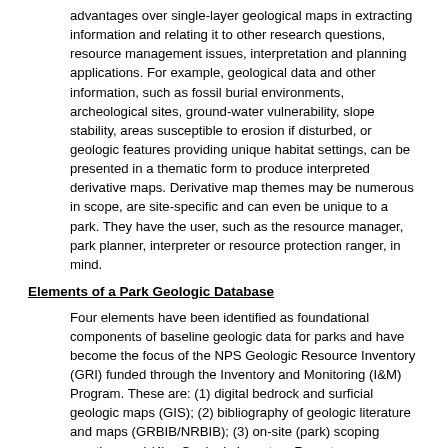advantages over single-layer geological maps in extracting information and relating it to other research questions, resource management issues, interpretation and planning applications. For example, geological data and other information, such as fossil burial environments, archeological sites, ground-water vulnerability, slope stability, areas susceptible to erosion if disturbed, or geologic features providing unique habitat settings, can be presented in a thematic form to produce interpreted derivative maps. Derivative map themes may be numerous in scope, are site-specific and can even be unique to a park. They have the user, such as the resource manager, park planner, interpreter or resource protection ranger, in mind.
Elements of a Park Geologic Database
Four elements have been identified as foundational components of baseline geologic data for parks and have become the focus of the NPS Geologic Resource Inventory (GRI) funded through the Inventory and Monitoring (I&M) Program. These are: (1) digital bedrock and surficial geologic maps (GIS); (2) bibliography of geologic literature and maps (GRBIB/NRBIB); (3) on-site (park) scoping meeting; and (4) a Geologic Inventory Report (documentation of GRI outcomes). These elements are described in detail in an NPS-Natural Resource Information Division (NRID) Fact Sheet titled Geologic Resource Inventory.
Description of Recommended Actions
Part of the GRI process is to identify existing geologic maps in and around